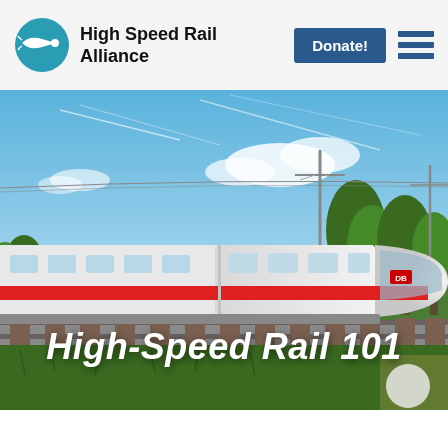High Speed Rail Alliance — Donate! [menu]
[Figure (photo): High-speed white train with red stripe traveling along tracks through green landscape under blue sky with clouds]
High-Speed Rail 101